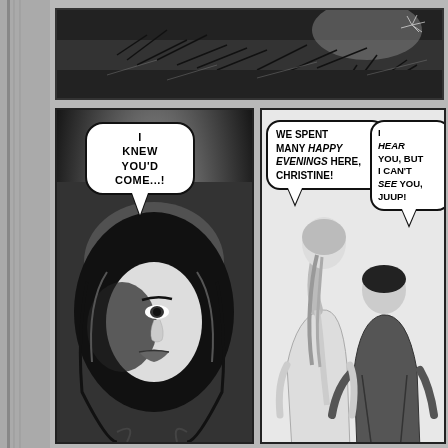[Figure (illustration): Comic book page with three panels. Top panel shows a dark nighttime scene with foliage/trees silhouetted against a dark sky. Bottom-left panel shows a woman with dark hair speaking the line 'I KNEW YOU'D COME...!' in a speech bubble. Bottom-right panel shows two figures seen from behind with two speech bubbles: 'WE SPENT MANY HAPPY EVENINGS HERE, CHRISTINE!' and 'I HEAR YOU, BUT I CAN'T SEE YOU, JUUP!']